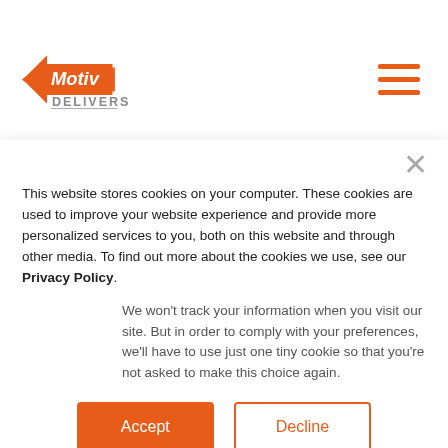[Figure (logo): Motiv Delivers logo with orange arrow and text]
transportation and courier services resulting from urban growth and the rise of e-commerce."
This website stores cookies on your computer. These cookies are used to improve your website experience and provide more personalized services to you, both on this website and through other media. To find out more about the cookies we use, see our Privacy Policy.
We won't track your information when you visit our site. But in order to comply with your preferences, we'll have to use just one tiny cookie so that you're not asked to make this choice again.